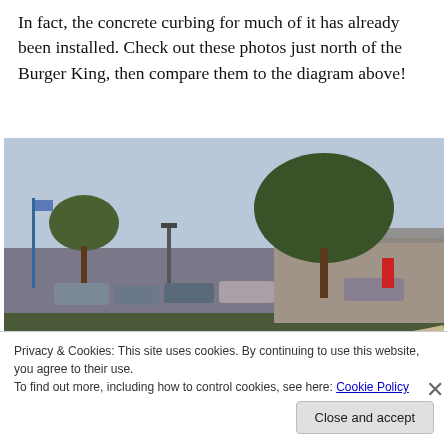In fact, the concrete curbing for much of it has already been installed. Check out these photos just north of the Burger King, then compare them to the diagram above!
[Figure (photo): Outdoor photo showing a parking lot area with trees, a building, parked cars, and concrete curbing visible in the foreground. A flag pole and light pole are visible on the left side.]
Privacy & Cookies: This site uses cookies. By continuing to use this website, you agree to their use.
To find out more, including how to control cookies, see here: Cookie Policy